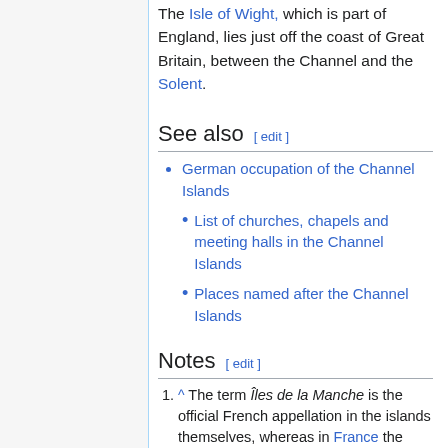The Isle of Wight, which is part of England, lies just off the coast of Great Britain, between the Channel and the Solent.
See also [ edit ]
German occupation of the Channel Islands
List of churches, chapels and meeting halls in the Channel Islands
Places named after the Channel Islands
Notes [ edit ]
^ The term Îles de la Manche is the official French appellation in the islands themselves, whereas in France the usual term is Îles Anglo-Normandes.